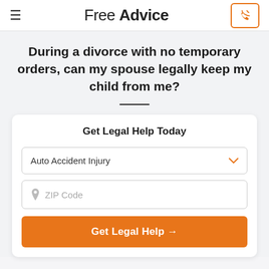Free Advice
During a divorce with no temporary orders, can my spouse legally keep my child from me?
Get Legal Help Today
Auto Accident Injury
ZIP Code
Get Legal Help →